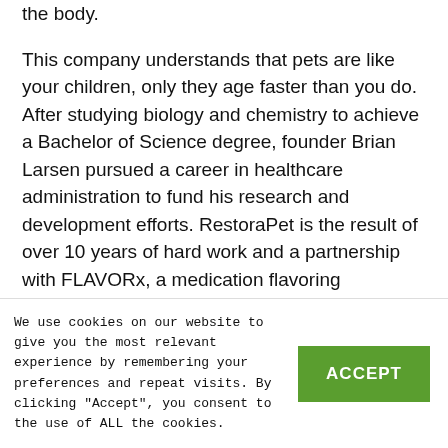the body.
This company understands that pets are like your children, only they age faster than you do. After studying biology and chemistry to achieve a Bachelor of Science degree, founder Brian Larsen pursued a career in healthcare administration to fund his research and development efforts. RestoraPet is the result of over 10 years of hard work and a partnership with FLAVORx, a medication flavoring company.
Every single member of the RestoraPet family is a
We use cookies on our website to give you the most relevant experience by remembering your preferences and repeat visits. By clicking "Accept", you consent to the use of ALL the cookies.